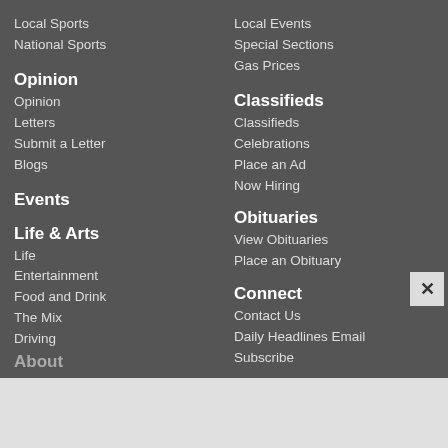Local Sports
National Sports
Opinion
Opinion
Letters
Submit a Letter
Blogs
Events
Life & Arts
Life
Entertainment
Food and Drink
The Mix
Driving
Local Events
Special Sections
Gas Prices
Classifieds
Classifieds
Celebrations
Place an Ad
Now Hiring
Obituaries
View Obituaries
Place an Obituary
Connect
Contact Us
Daily Headlines Email
Subscribe
E-Edition
About (partially visible)